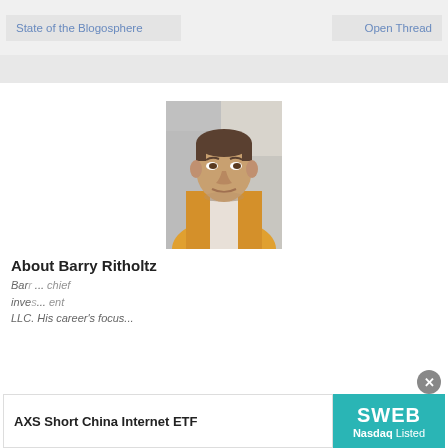State of the Blogosphere
Open Thread
[Figure (photo): Portrait photo of Barry Ritholtz, a middle-aged man with short dark hair, wearing an orange jacket over a striped shirt, looking upward]
About Barry Ritholtz
Barry ... chief inve... LLC. His career's focus...
[Figure (infographic): Advertisement banner: AXS Short China Internet ETF / SWEB Nasdaq Listed, with close button]